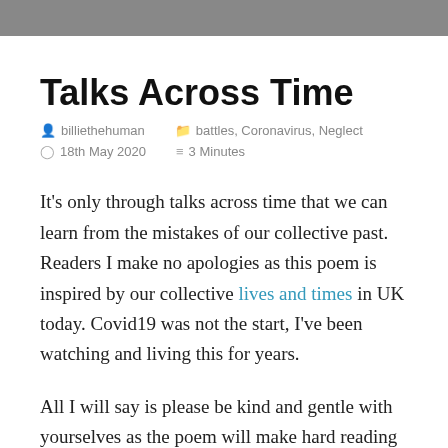[Figure (photo): Partial photograph visible as a dark grey banner at the top of the page]
Talks Across Time
billiethehuman   battles, Coronavirus, Neglect
18th May 2020   3 Minutes
It's only through talks across time that we can learn from the mistakes of our collective past. Readers I make no apologies as this poem is inspired by our collective lives and times in UK today. Covid19 was not the start, I've been watching and living this for years.
All I will say is please be kind and gentle with yourselves as the poem will make hard reading for those